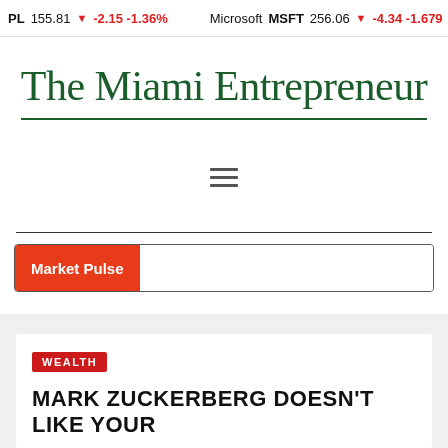PL 155.81 ▼ -2.15 -1.36%   Microsoft MSFT 256.06 ▼ -4.34 -1.679
The Miami Entrepreneur
[Figure (other): Hamburger menu icon (three horizontal lines)]
Market Pulse
WEALTH
MARK ZUCKERBERG DOESN'T LIKE YOUR